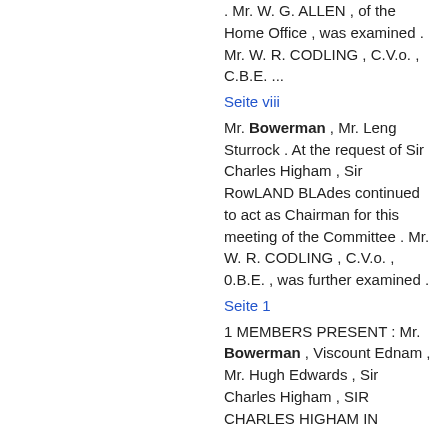. Mr. W. G. ALLEN , of the Home Office , was examined . Mr. W. R. CODLING , C.V.o. , C.B.E. ...
Seite viii
Mr. Bowerman , Mr. Leng Sturrock . At the request of Sir Charles Higham , Sir RowLAND BLAdes continued to act as Chairman for this meeting of the Committee . Mr. W. R. CODLING , C.V.o. , 0.B.E. , was further examined .
Seite 1
1 MEMBERS PRESENT : Mr. Bowerman , Viscount Ednam , Mr. Hugh Edwards , Sir Charles Higham , SIR CHARLES HIGHAM IN